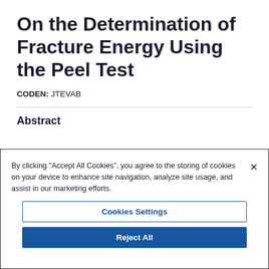On the Determination of Fracture Energy Using the Peel Test
CODEN: JTEVAB
Abstract
By clicking "Accept All Cookies", you agree to the storing of cookies on your device to enhance site navigation, analyze site usage, and assist in our marketing efforts.
Cookies Settings
Reject All